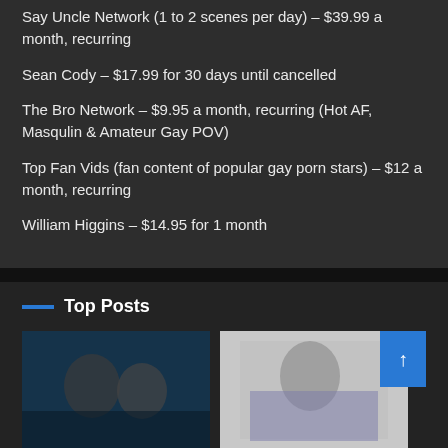Say Uncle Network (1 to 2 scenes per day) – $39.99 a month, recurring
Sean Cody – $17.99 for 30 days until cancelled
The Bro Network – $9.95 a month, recurring (Hot AF, Masqulin & Amateur Gay POV)
Top Fan Vids (fan content of popular gay porn stars) – $12 a month, recurring
William Higgins – $14.95 for 1 month
Top Posts
[Figure (photo): Two muscular men in a dark blue-lit scene]
[Figure (photo): A bald muscular man in a blue shirt]